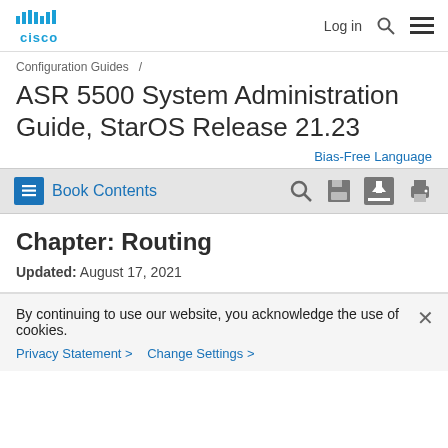Cisco | Log in | Search | Menu
Configuration Guides /
ASR 5500 System Administration Guide, StarOS Release 21.23
Bias-Free Language
Book Contents
Chapter: Routing
Updated: August 17, 2021
By continuing to use our website, you acknowledge the use of cookies.
Privacy Statement > Change Settings >